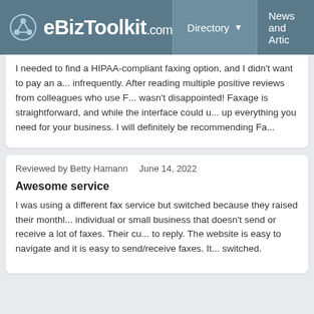eBizToolkit.com — Directory — News and Articles
I needed to find a HIPAA-compliant faxing option, and I didn't want to pay an amount for sending infrequently. After reading multiple positive reviews from colleagues who use F... wasn't disappointed! Faxage is straightforward, and while the interface could u... up everything you need for your business. I will definitely be recommending Fa...
Reviewed by Betty Hamann   June 14, 2022
Awesome service
I was using a different fax service but switched because they raised their monthly rates. Faxage is great for an individual or small business that doesn't send or receive a lot of faxes. Their cu... to reply. The website is easy to navigate and it is easy to send/receive faxes. It... switched.